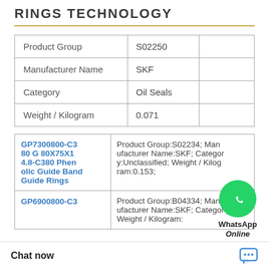RINGS TECHNOLOGY
|  |  |  |
| --- | --- | --- |
| Product Group | S02250 |  |
| Manufacturer Name | SKF |  |
| Category | Oil Seals |  |
| Weight / Kilogram | 0.071 |  |
[Figure (logo): WhatsApp Online green phone icon with text WhatsApp Online]
|  |  |
| --- | --- |
| GP7300800-C380 G 80X75X14.8-C380 Phenolic Guide Band Guide Rings | Product Group:S02234; Manufacturer Name:SKF; Category:Unclassified; Weight / Kilogram:0.153; |
| GP6900800-C3 | Product Group:B04334; Man ufacturer Name:SKF; Category; Weight / Kilogram: |
Chat now